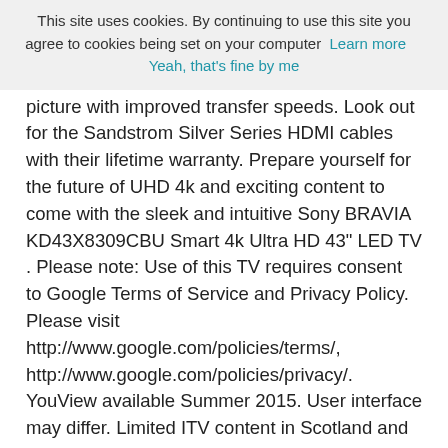This site uses cookies. By continuing to use this site you agree to cookies being set on your computer  Learn more      Yeah, that's fine by me
picture with improved transfer speeds. Look out for the Sandstrom Silver Series HDMI cables with their lifetime warranty. Prepare yourself for the future of UHD 4k and exciting content to come with the sleek and intuitive Sony BRAVIA KD43X8309CBU Smart 4k Ultra HD 43" LED TV . Please note: Use of this TV requires consent to Google Terms of Service and Privacy Policy. Please visit http://www.google.com/policies/terms/, http://www.google.com/policies/privacy/. YouView available Summer 2015. User interface may differ. Limited ITV content in Scotland and NI. Suitable coverage, broadband speed and aerial required. T&C's apply, see youview.com. BBC iPlayer will be available via a firmware update in summer 2015. Netflix - Service availability depends on country. 4K Ultra HD availability subject to your Netflix